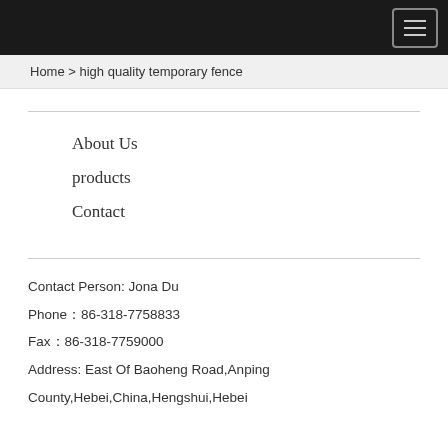Navigation bar with hamburger menu
Home > high quality temporary fence
About Us
products
Contact
Contact Person: Jona Du
Phone：86-318-7758833
Fax：86-318-7759000
Address: East Of Baoheng Road,Anping County,Hebei,China,Hengshui,Hebei